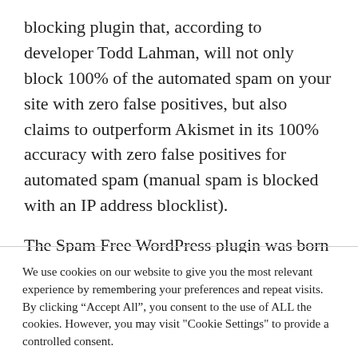blocking plugin that, according to developer Todd Lahman, will not only block 100% of the automated spam on your site with zero false positives, but also claims to outperform Akismet in its 100% accuracy with zero false positives for automated spam (manual spam is blocked with an IP address blocklist).
The Spam Free WordPress plugin was born out
We use cookies on our website to give you the most relevant experience by remembering your preferences and repeat visits. By clicking "Accept All", you consent to the use of ALL the cookies. However, you may visit "Cookie Settings" to provide a controlled consent.